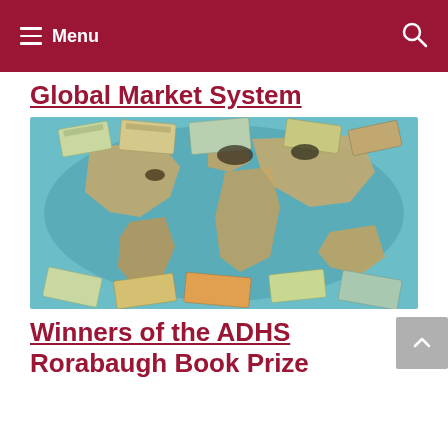Menu
Global Market System
[Figure (photo): Aerial view of a world map with various currency bills and coins scattered across it, especially concentrated on continents]
Winners of the ADHS Rorabaugh Book Prize